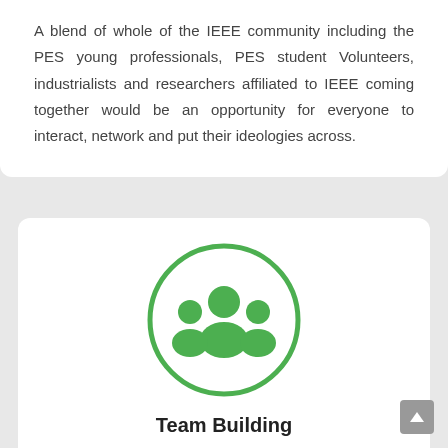A blend of whole of the IEEE community including the PES young professionals, PES student Volunteers, industrialists and researchers affiliated to IEEE coming together would be an opportunity for everyone to interact, network and put their ideologies across.
[Figure (illustration): Green circle outline containing a group of three people icon in green, representing a team or community.]
Team Building
To be a leader, one needs a team. To be a team, the individuals need an exposure to challenges. The